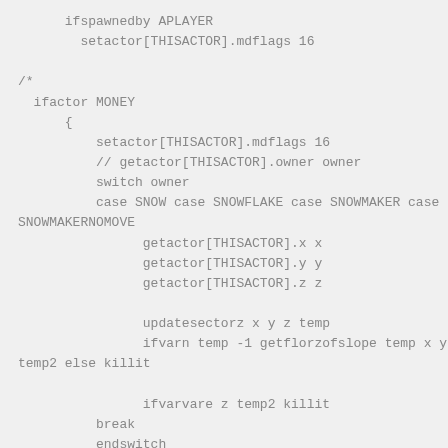ifspawnedby APLAYER
    setactor[THISACTOR].mdflags 16

/*
  ifactor MONEY
      {
          setactor[THISACTOR].mdflags 16
          // getactor[THISACTOR].owner owner
          switch owner
          case SNOW case SNOWFLAKE case SNOWMAKER case SNOWMAKERNOMOVE
                getactor[THISACTOR].x x
                getactor[THISACTOR].y y
                getactor[THISACTOR].z z

                updatesectorz x y z temp
                ifvarn temp -1 getflorzofslope temp x y temp2 else killit

                ifvarvare z temp2 killit
          break
          endswitch
      }
*/
endevent

        + EVENT_ANIMATESPRITES